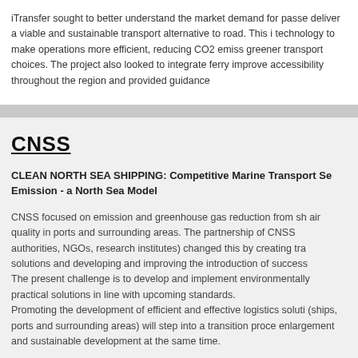iTransfer sought to better understand the market demand for passe deliver a viable and sustainable transport alternative to road. This i technology to make operations more efficient, reducing CO2 emiss greener transport choices. The project also looked to integrate ferry improve accessibility throughout the region and provided guidance
CNSS
CLEAN NORTH SEA SHIPPING: Competitive Marine Transport Se Emission - a North Sea Model
CNSS focused on emission and greenhouse gas reduction from sh air quality in ports and surrounding areas. The partnership of CNSS authorities, NGOs, research institutes) changed this by creating tra solutions and developing and improving the introduction of success
The present challenge is to develop and implement environmentally practical solutions in line with upcoming standards.
Promoting the development of efficient and effective logistics soluti (ships, ports and surrounding areas) will step into a transition proce enlargement and sustainable development at the same time.